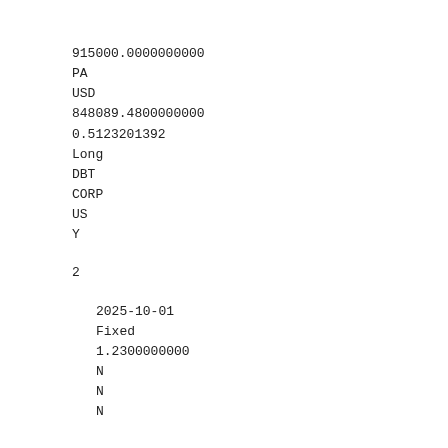915000.0000000000
PA
USD
848089.4800000000
0.5123201392
Long
DBT
CORP
US
Y

2

    2025-10-01
    Fixed
    1.2300000000
    N
    N
    N


    N
    N
    N